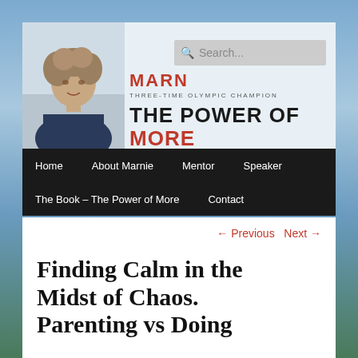[Figure (screenshot): Website header banner with photo of a woman with curly hair, site name MARNIE in red, tagline THREE-TIME OLYMPIC CHAMPION, and THE POWER OF MORE title in black and red]
MARNIE | THREE-TIME OLYMPIC CHAMPION | THE POWER OF MORE
Home
About Marnie
Mentor
Speaker
The Book – The Power of More
Contact
← Previous   Next →
Finding Calm in the Midst of Chaos. Parenting vs Doing